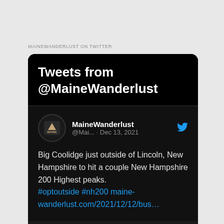MAINEWANDERLUST ON TWITTER
[Figure (screenshot): Twitter widget screenshot showing 'Tweets from @MaineWanderlust' header in dark mode with a tweet from MaineWanderlust (@Mai...) dated Dec 13, 2021 reading: 'Big Coolidge just outside of Lincoln, New Hampshire to hit a couple New Hampshire 200 Highest peaks. #optoutside #nh200 maine-wanderlust.com/2021/12/12/bus...']